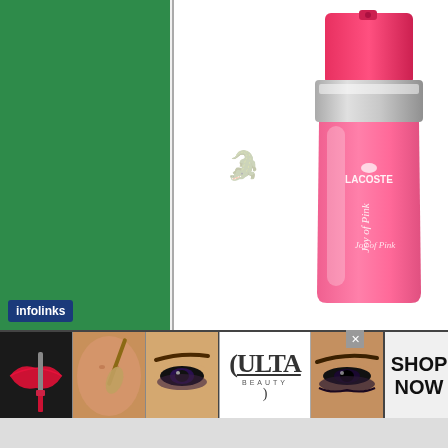[Figure (photo): Green panel on the left side of the advertisement, solid emerald/kelly green background]
[Figure (photo): Lacoste Joy of Pink perfume bottle — tall pink glass bottle with hot pink cap and silver/chrome band/collar. Logo reads LACOSTE and Joy of Pink in cursive on the bottle. White background on the right panel.]
infolinks
[Figure (photo): ULTA Beauty advertisement strip at the bottom showing: lips with red lipstick and brush, woman's face with makeup brush on cheek, woman's eyes with dramatic dark eye makeup, ULTA Beauty logo, woman's eyes with smoky makeup, and SHOP NOW text.]
SHOP NOW